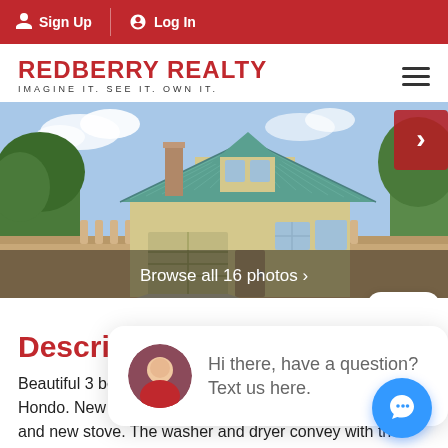Sign Up  Log In
REDBERRY REALTY
IMAGINE IT. SEE IT. OWN IT.
[Figure (photo): Exterior photo of a house with teal/green metal roof, cream-colored walls, surrounded by trees, with Browse all 16 photos overlay and navigation arrow]
Description
Beautiful 3 be[droom, 2 bath home sitting on a corner lot in Hondo. New flooring throughout home, new refrigerator, and new stove. The washer and dryer convey with the property. This home offers a large living room with a wood burning fireplace that
Hi there, have a question? Text us here.